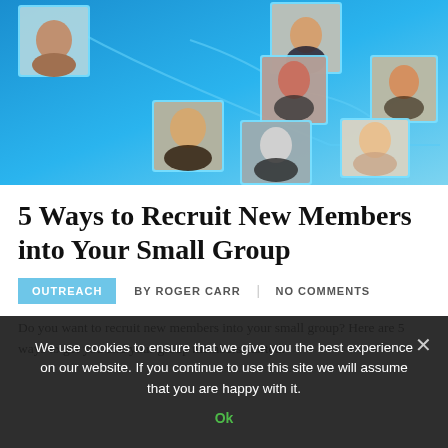[Figure (illustration): Blue social network graphic showing headshots of multiple people connected by curved lines on a bright blue gradient background]
5 Ways to Recruit New Members into Your Small Group
OUTREACH  BY ROGER CARR  |  NO COMMENTS
Do you want to recruit new members into your small group? Here are 5 ways to get you and your group members started.
We use cookies to ensure that we give you the best experience on our website. If you continue to use this site we will assume that you are happy with it.
Ok